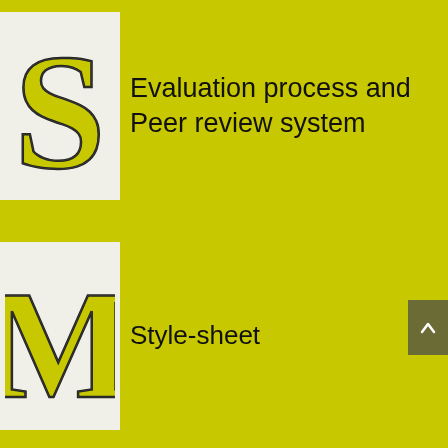[Figure (illustration): Large decorative letter S in olive/yellow with outline style on light gray background]
Evaluation process and Peer review system
[Figure (illustration): Large decorative letter M in olive/yellow with outline style on light gray background]
Style-sheet
[Figure (illustration): Large decorative letter A in olive/yellow with outline style on light gray background, partially visible at bottom]